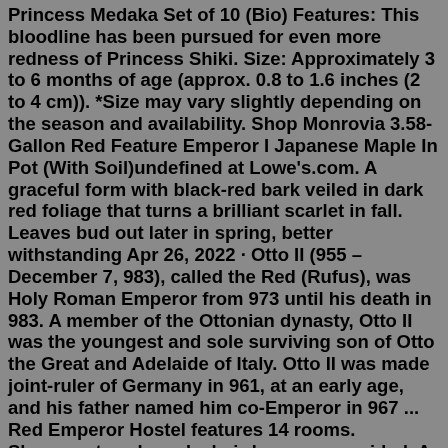Princess Medaka Set of 10 (Bio) Features: This bloodline has been pursued for even more redness of Princess Shiki. Size: Approximately 3 to 6 months of age (approx. 0.8 to 1.6 inches (2 to 4 cm)). *Size may vary slightly depending on the season and availability. Shop Monrovia 3.58-Gallon Red Feature Emperor I Japanese Maple In Pot (With Soil)undefined at Lowe's.com. A graceful form with black-red bark veiled in dark red foliage that turns a brilliant scarlet in fall. Leaves bud out later in spring, better withstanding Apr 26, 2022 · Otto II (955 – December 7, 983), called the Red (Rufus), was Holy Roman Emperor from 973 until his death in 983. A member of the Ottonian dynasty, Otto II was the youngest and sole surviving son of Otto the Great and Adelaide of Italy. Otto II was made joint-ruler of Germany in 961, at an early age, and his father named him co-Emperor in 967 ... Red Emperor Hostel features 14 rooms. Showers, towels and a hairdryer are provided. A set of facilities like an electric kettle, kitchenware and a refrigerator are offered. The accommodation is